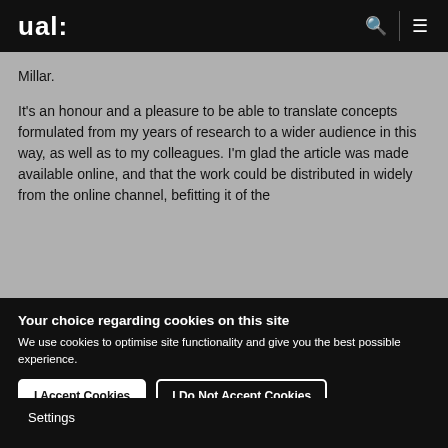ual:
Millar.

It's an honour and a pleasure to be able to translate concepts formulated from my years of research to a wider audience in this way, as well as to my colleagues. I'm glad the article was made available online, and that the work could be distributed in widely from the…
Your choice regarding cookies on this site
We use cookies to optimise site functionality and give you the best possible experience.
I Accept Cookies
I Do Not Accept Cookies
Settings